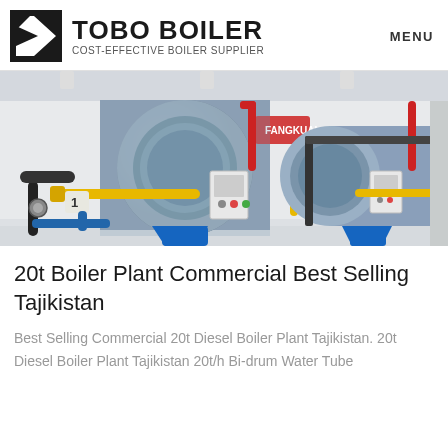TOBO BOILER COST-EFFECTIVE BOILER SUPPLIER | MENU
[Figure (photo): Industrial boiler plant showing multiple large cylindrical blue boilers with yellow and red piping, labeled with Chinese characters, in a clean factory setting.]
20t Boiler Plant Commercial Best Selling Tajikistan
Best Selling Commercial 20t Diesel Boiler Plant Tajikistan. 20t Diesel Boiler Plant Tajikistan 20t/h Bi-drum Water Tube